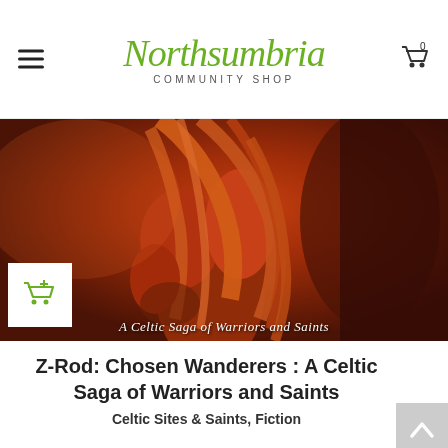Northsumbria Community Shop
[Figure (photo): Book cover image showing a Celtic warrior with auburn hair against a dark reddish background. Text overlay reads 'A Celtic Saga of Warriors and Saints'. Add to cart button visible in lower left.]
Z-Rod: Chosen Wanderers : A Celtic Saga of Warriors and Saints
Celtic Sites & Saints, Fiction